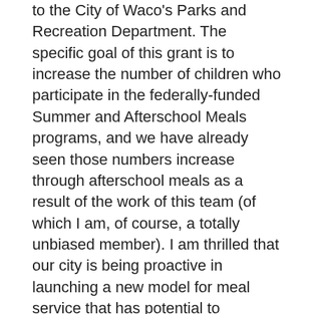to the City of Waco's Parks and Recreation Department. The specific goal of this grant is to increase the number of children who participate in the federally-funded Summer and Afterschool Meals programs, and we have already seen those numbers increase through afterschool meals as a result of the work of this team (of which I am, of course, a totally unbiased member). I am thrilled that our city is being proactive in launching a new model for meal service that has potential to positively impact the wellbeing of children, teens, and families. I am encouraged that we have already seen similar programs be enormously effective in other Texas communities, and I look forward to helping these leaders try out this model in our own community, tailoring it to the specific needs and desires of our neighbors. I can't wait to see all that will come of these unique partnerships, and see new partnerships and collaborations form as we go.